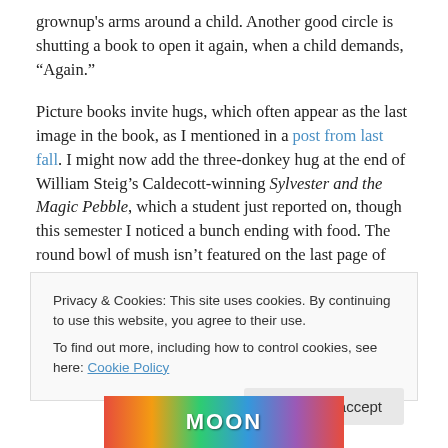grownup's arms around a child. Another good circle is shutting a book to open it again, when a child demands, “Again.”
Picture books invite hugs, which often appear as the last image in the book, as I mentioned in a post from last fall. I might now add the three-donkey hug at the end of William Steig’s Caldecott-winning Sylvester and the Magic Pebble, which a student just reported on, though this semester I noticed a bunch ending with food. The round bowl of mush isn’t featured on the last page of Goodnight Moon, when
Privacy & Cookies: This site uses cookies. By continuing to use this website, you agree to their use.
To find out more, including how to control cookies, see here: Cookie Policy
Close and accept
[Figure (illustration): Bottom portion of a colorful book cover showing text in bright multicolored lettering, partially visible]